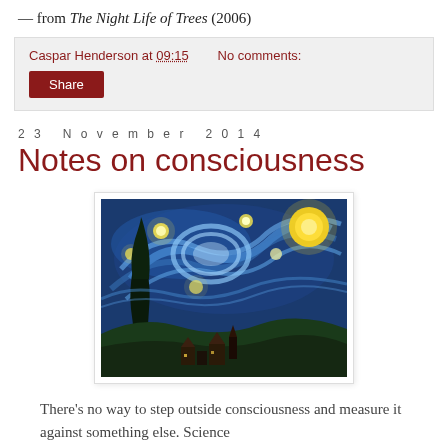— from The Night Life of Trees (2006)
Caspar Henderson at 09:15   No comments:
Share
23 November 2014
Notes on consciousness
[Figure (illustration): Van Gogh's The Starry Night painting showing swirling blue sky with stars and crescent moon, dark cypress tree on left, village below.]
There's no way to step outside consciousness and measure it against something else. Science